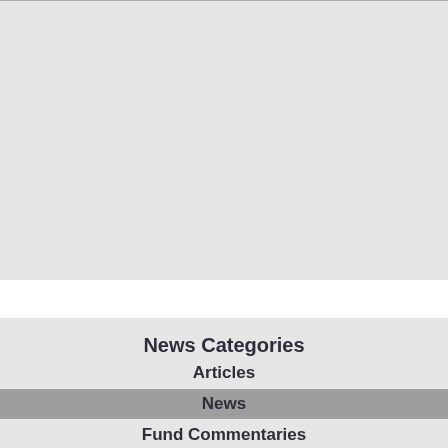[Figure (other): Large light grey rectangular area at top of page, representing a content placeholder or image area with a thin horizontal line at the top.]
News Categories
Articles
News
Fund Commentaries